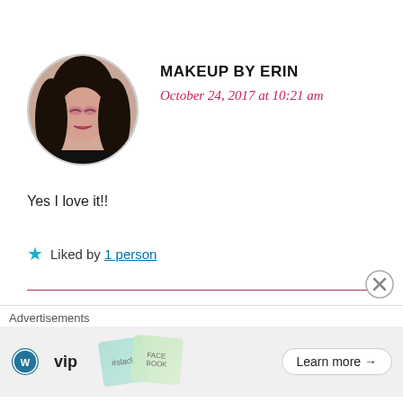[Figure (photo): Circular avatar photo of a woman with dark hair and makeup]
MAKEUP BY ERIN
October 24, 2017 at 10:21 am
Yes I love it!!
★ Liked by 1 person
[Figure (logo): Circular avatar with BEyouTiful text and flowers]
BEYOUTIFUL
October 24, 2017 at 4:59 pm
Advertisements
[Figure (other): WordPress VIP advertisement banner with Learn more button]